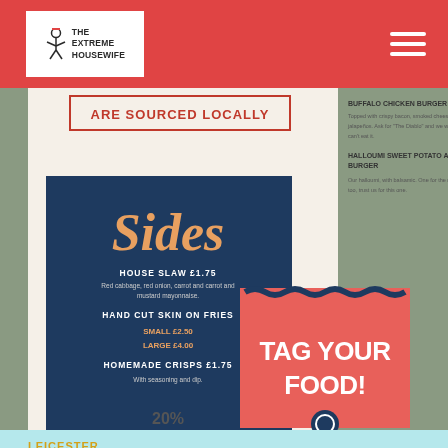The Extreme Housewife
[Figure (photo): A restaurant menu showing a 'Sides' section on a dark blue background with items including House Slaw, Hand Cut Skin On Fries, and Homemade Crisps. A pink panel says 'TAG YOUR FOOD!' The top of the menu reads 'ARE SOURCED LOCALLY'.]
LEICESTER
Nosh at any time: The Kitchen at The Cookie
23/06/2016
[Figure (photo): Partial view of a leopard-print fabric or clothing item, showing beige/tan background with dark brown spots.]